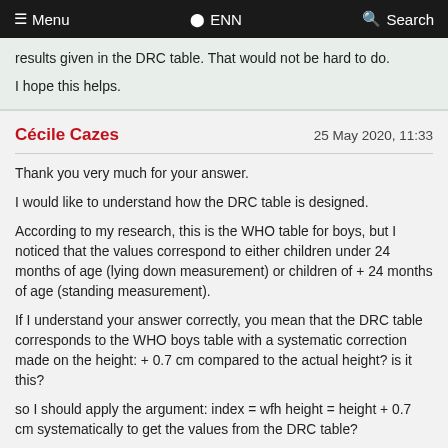≡ Menu   ● ENN   🔍 Search
results given in the DRC table. That would not be hard to do.
I hope this helps.
Cécile Cazes   25 May 2020, 11:33
Thank you very much for your answer.
I would like to understand how the DRC table is designed.
According to my research, this is the WHO table for boys, but I noticed that the values correspond to either children under 24 months of age (lying down measurement) or children of + 24 months of age (standing measurement).
If I understand your answer correctly, you mean that the DRC table corresponds to the WHO boys table with a systematic correction made on the height: + 0.7 cm compared to the actual height? is it this?
so I should apply the argument: index = wfh height = height + 0.7 cm systematically to get the values from the DRC table?
Thanks for your help